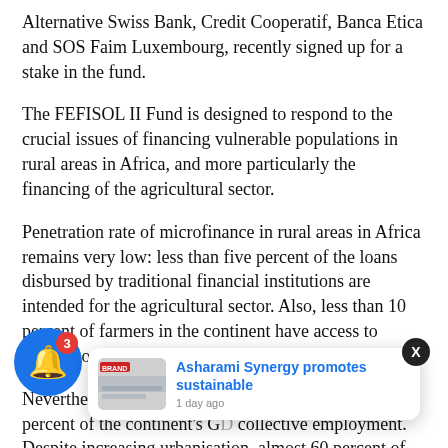Alternative Swiss Bank, Credit Cooperatif, Banca Etica and SOS Faim Luxembourg, recently signed up for a stake in the fund.
The FEFISOL II Fund is designed to respond to the crucial issues of financing vulnerable populations in rural areas in Africa, and more particularly the financing of the agricultural sector.
Penetration rate of microfinance in rural areas in Africa remains very low: less than five percent of the loans disbursed by traditional financial institutions are intended for the agricultural sector. Also, less than 10 percent of farmers in the continent have access to formal sources of credit.
Nevertheless, the agricultural sector accounts for 23 percent of the continent's GDP collective employment. Despite increasing urbanisation, almost 60 percent of